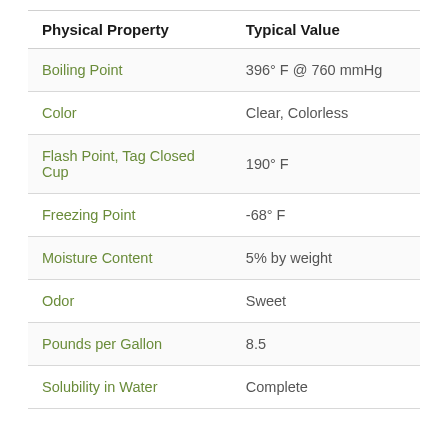| Physical Property | Typical Value |
| --- | --- |
| Boiling Point | 396° F @ 760 mmHg |
| Color | Clear, Colorless |
| Flash Point, Tag Closed Cup | 190° F |
| Freezing Point | -68° F |
| Moisture Content | 5% by weight |
| Odor | Sweet |
| Pounds per Gallon | 8.5 |
| Solubility in Water | Complete |